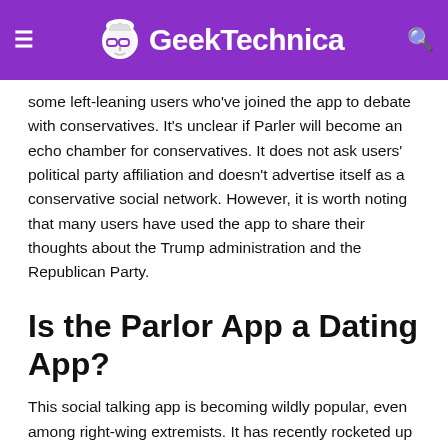GeekTechnica
some left-leaning users who've joined the app to debate with conservatives. It's unclear if Parler will become an echo chamber for conservatives. It does not ask users' political party affiliation and doesn't advertise itself as a conservative social network. However, it is worth noting that many users have used the app to share their thoughts about the Trump administration and the Republican Party.
Is the Parlor App a Dating App?
This social talking app is becoming wildly popular, even among right-wing extremists. It has recently rocketed up the App charts